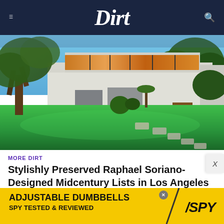Dirt
[Figure (photo): Exterior photo of a midcentury modern house with large windows, white walls, lush green lawn, mature trees, and stepping stones at dusk]
MORE DIRT
Stylishly Preserved Raphael Soriano-Designed Midcentury Lists in Los Angeles
[Figure (other): Advertisement banner: ADJUSTABLE DUMBBELLS SPY TESTED & REVIEWED with yellow background and SPY logo]